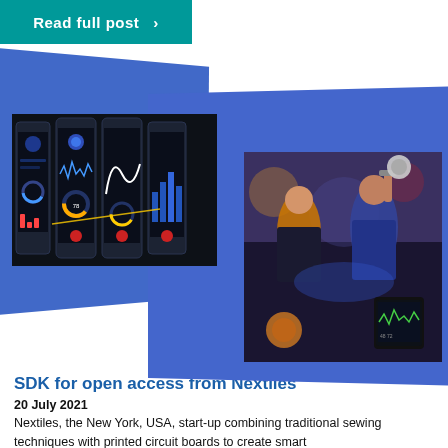Read full post  >
[Figure (photo): Composite image with two photos on blue background: left shows smartphone app screenshots in dark theme with fitness tracking interface; right shows people exercising in a gym with someone holding a smartphone showing a fitness app.]
SDK for open access from Nextiles
20 July 2021
Nextiles, the New York, USA, start-up combining traditional sewing techniques with printed circuit boards to create smart fabrics that enhance performance for athletes, has now